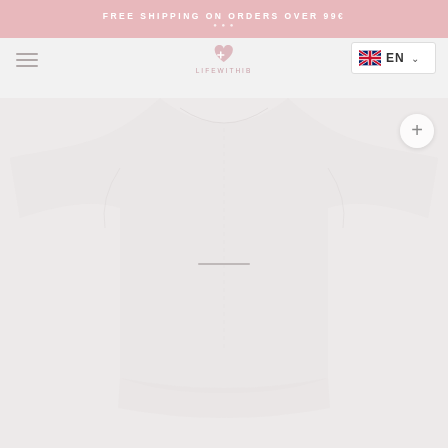FREE SHIPPING ON ORDERS OVER 99€
[Figure (logo): Fashion e-commerce website header with hamburger menu icon on left, brand logo (heart icon with text 'LIFEWITHEB' or similar) in center, and EN language selector with UK flag on right. Below is a product page showing a white/cream colored garment (dress or top) with a plus button for zooming.]
[Figure (photo): Product photo showing a white or very light-colored garment (appears to be a dress or top) displayed against a light pinkish-grey background. The garment silhouette is very faint and blends with the background.]